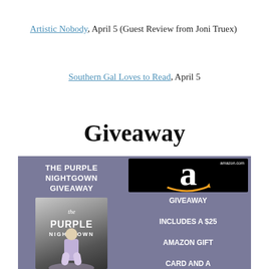Artistic Nobody, April 5 (Guest Review from Joni Truex)
Southern Gal Loves to Read, April 5
Giveaway
[Figure (illustration): Giveaway banner showing The Purple Nightgown book cover on a purple-gray background on the left, and an Amazon gift card image with text 'GIVEAWAY INCLUDES A $25 AMAZON GIFT CARD AND A...' on the right]